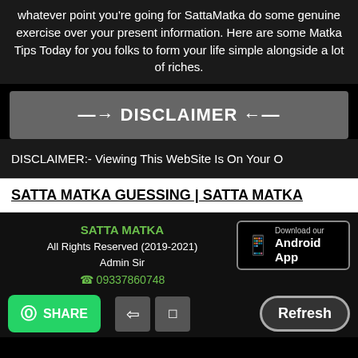whatever point you're going for SattaMatka do some genuine exercise over your present information. Here are some Matka Tips Today for you folks to form your life simple alongside a lot of riches.
⟶ DISCLAIMER ←
DISCLAIMER:- Viewing This WebSite Is On Your O
SATTA MATKA GUESSING | SATTA MATKA
SATTA MATKA
All Rights Reserved (2019-2021)
Admin Sir
09337860748